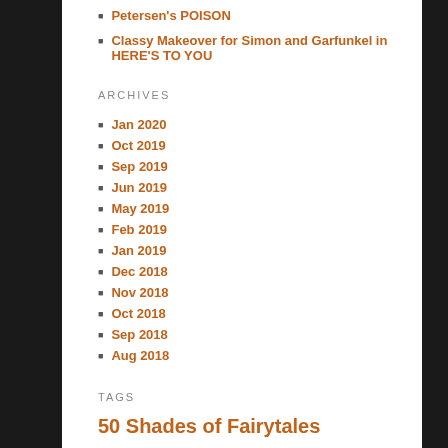Petersen's POISON
Classy Makeover for Simon and Garfunkel in HERE'S TO YOU
ARCHIVES
Jan 2020
Oct 2019
Sep 2019
Jun 2019
May 2019
Feb 2019
Jan 2019
Dec 2018
Nov 2018
Oct 2018
Sep 2018
Aug 2018
TAGS
50 Shades of Fairytales